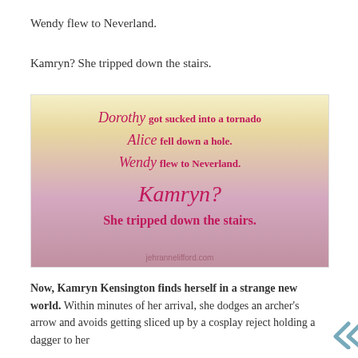Wendy flew to Neverland.
Kamryn? She tripped down the stairs.
[Figure (illustration): Decorative quote image with pink/cream floral background. Text reads: Dorothy got sucked into a tornado / Alice fell down a hole. / Wendy flew to Neverland. / Kamryn? / She tripped down the stairs. — jehrannelifford.com]
Now, Kamryn Kensington finds herself in a strange new world. Within minutes of her arrival, she dodges an archer's arrow and avoids getting sliced up by a cosplay reject holding a dagger to her